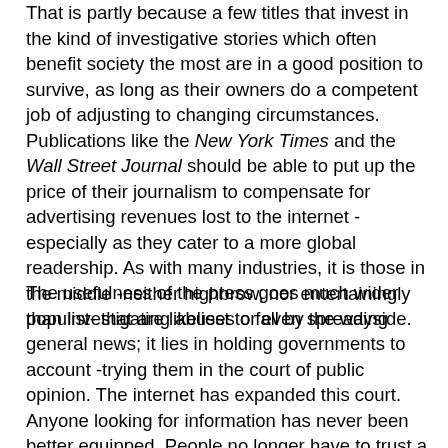That is partly because a few titles that invest in the kind of investigative stories which often benefit society the most are in a good position to survive, as long as their owners do a competent job of adjusting to changing circumstances. Publications like the New York Times and the Wall Street Journal should be able to put up the price of their journalism to compensate for advertising revenues lost to the internet - especially as they cater to a more global readership. As with many industries, it is those in the middle -neither highbrow, nor entertainingly populist- that are likeliest to fall by the wayside.
The usefulness of the press goes much wider than investigating abuses or even spreading general news; it lies in holding governments to account -trying them in the court of public opinion. The internet has expanded this court. Anyone looking for information has never been better equipped. People no longer have to trust a handful of national papers or, worse, their local city paper. News-aggregation sites such as Google News draw together sources from around the world. The website of Britain's Guardian now has nearly half as many readers in America